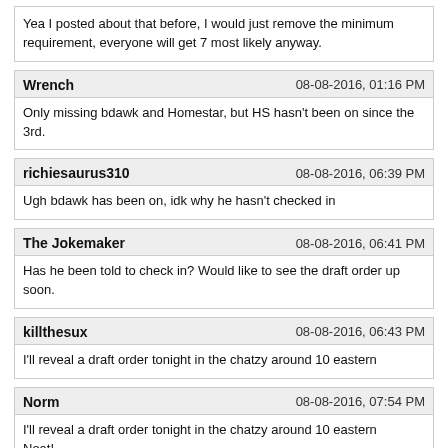Yea I posted about that before, I would just remove the minimum requirement, everyone will get 7 most likely anyway.
Wrench | 08-08-2016, 01:16 PM
Only missing bdawk and Homestar, but HS hasn't been on since the 3rd.
richiesaurus310 | 08-08-2016, 06:39 PM
Ugh bdawk has been on, idk why he hasn't checked in
The Jokemaker | 08-08-2016, 06:41 PM
Has he been told to check in? Would like to see the draft order up soon.
killthesux | 08-08-2016, 06:43 PM
I'll reveal a draft order tonight in the chatzy around 10 eastern
Norm | 08-08-2016, 07:54 PM
I'll reveal a draft order tonight in the chatzy around 10 eastern
Neat!
StriveGreatness | 08-08-2016, 09:05 PM
Baltimore Colts

HC: Paul Brown

QB: Tom Brady